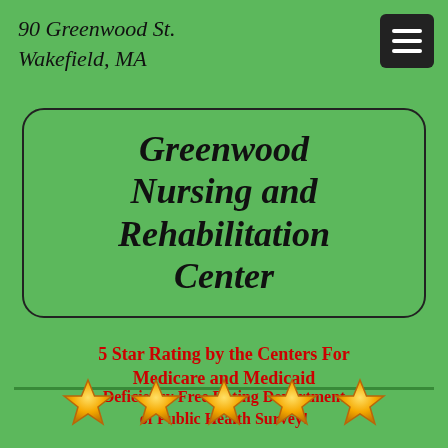90 Greenwood St.
Wakefield, MA
Greenwood Nursing and Rehabilitation Center
5 Star Rating by the Centers For Medicare and Medicaid
Deficiency Free Rating Department of Public Health Survey!
[Figure (illustration): Five gold stars in a row representing a 5-star rating]